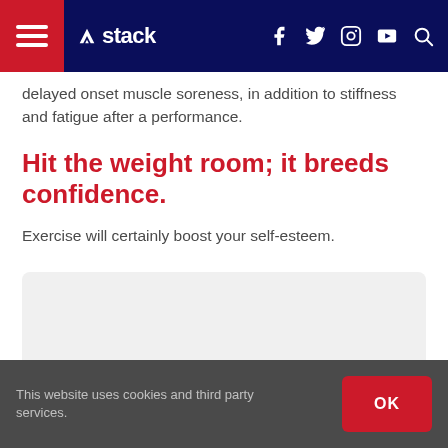stack (navigation bar with hamburger menu, logo, social icons: f, twitter, instagram, youtube, search)
delayed onset muscle soreness, in addition to stiffness and fatigue after a performance.
Hit the weight room; it breeds confidence.
Exercise will certainly boost your self-esteem.
[Figure (other): Embedded media/content placeholder box with light grey background]
This website uses cookies and third party services. OK